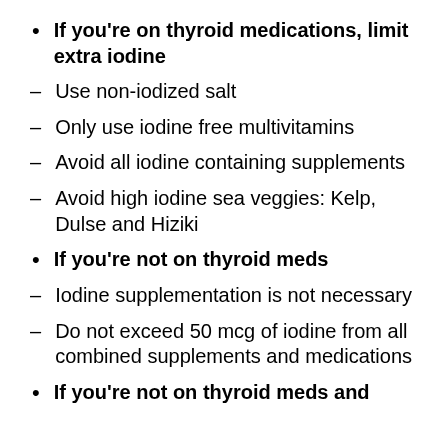If you're on thyroid medications, limit extra iodine
Use non-iodized salt
Only use iodine free multivitamins
Avoid all iodine containing supplements
Avoid high iodine sea veggies: Kelp, Dulse and Hiziki
If you're not on thyroid meds
Iodine supplementation is not necessary
Do not exceed 50 mcg of iodine from all combined supplements and medications
If you're not on thyroid meds and